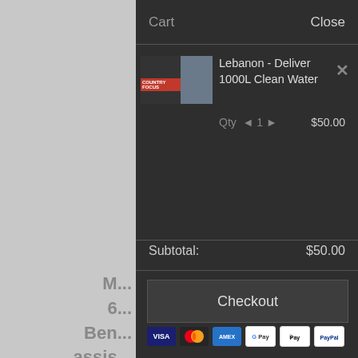Cart    Close
[Figure (screenshot): Thumbnail image of Lebanon deliver water campaign showing a person and red banner]
Lebanon - Deliver 1000L Clean Water
Qty ◄ 1 ► $50.00
Subtotal: $50.00
Checkout
[Figure (other): Payment icons: VISA, Mastercard, AMEX, G Pay, Apple Pay, PayPal]